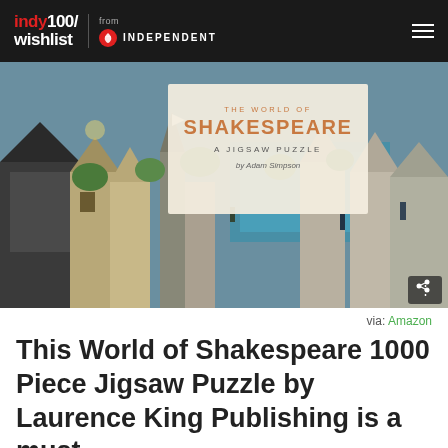indy100/wishlist from INDEPENDENT
[Figure (illustration): The World of Shakespeare A Jigsaw Puzzle by Adam Simpson — colorful illustrated medieval city scene with buildings, river, and figures]
via: Amazon
This World of Shakespeare 1000 Piece Jigsaw Puzzle by Laurence King Publishing is a must-